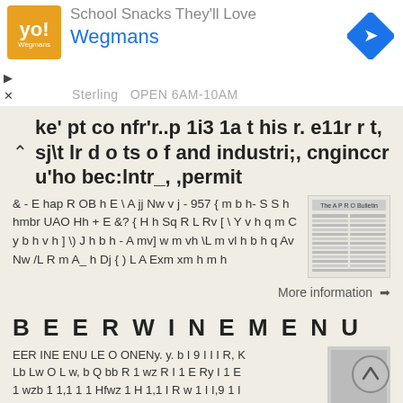[Figure (screenshot): Ad banner showing Wegmans grocery store ad with logo, title text 'School Snacks They'll Love', subtitle 'Wegmans', and a blue navigation arrow diamond icon on the right. Navigation triangle and X icons on left.]
ke' pt co nfr'r..p 1i3 1a t his r. e11r r t, sj\t lr d o ts o f and industri;, cnginccr u'ho bec:lntr_, ,permit
& - E hap R OB h E \ A jj Nw v j - 957 { m b h- S S h hmbr UAO Hh + E &? { H h Sq R L Rv [ \ Y v h q m C y b h v h ] \) J h b h - A mv] w m vh \L m vl h b h q Av Nw /L R m A_ h Dj { ) L A Exm xm h m h
[Figure (screenshot): Small newspaper clipping image labeled 'The APRO Bulletin']
More information ➔
B E E R W I N E M E N U
EER INE ENU LE O ONENy. y. b I 9 I I I R, K Lb Lw O L w, b Q bb R 1 wz R I 1 E Ry I 1 E 1 wzb 1 1,1 1 1 Hfwz 1 H 1,1 I R w 1 I I,9 1 I